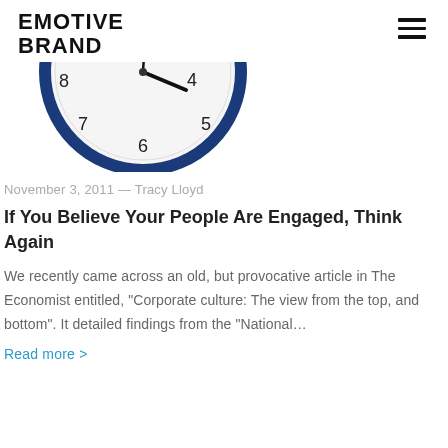EMOTIVE BRAND
[Figure (photo): Bottom half of an analog clock with blue rim showing numbers 4, 5, 6, 7, 8 and clock hands]
November 3, 2011 — Tracy Lloyd
If You Believe Your People Are Engaged, Think Again
We recently came across an old, but provocative article in The Economist entitled, “Corporate culture: The view from the top, and bottom”. It detailed findings from the “National…
Read more >